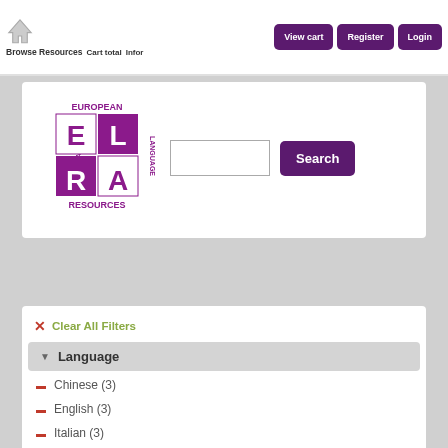Browse Resources  Cart total  Infor  View cart  Register  Login
[Figure (logo): ELRA European Language Resources Association logo — purple square grid with EL/RA letters and text around border]
Search
Clear All Filters
Language
Chinese (3)
English (3)
Italian (3)
Japanese (3)
Modern Greek (1453-) (3)